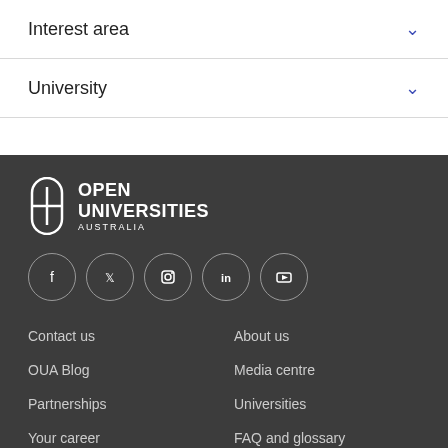Interest area
University
[Figure (logo): Open Universities Australia logo — pill/capsule icon with white fill beside bold white text 'OPEN UNIVERSITIES' and smaller 'AUSTRALIA']
[Figure (infographic): Row of 5 social media icons in circles: Facebook, Twitter, Instagram, LinkedIn, YouTube]
Contact us
About us
OUA Blog
Media centre
Partnerships
Universities
Your career
FAQ and glossary
Work with us
Courses